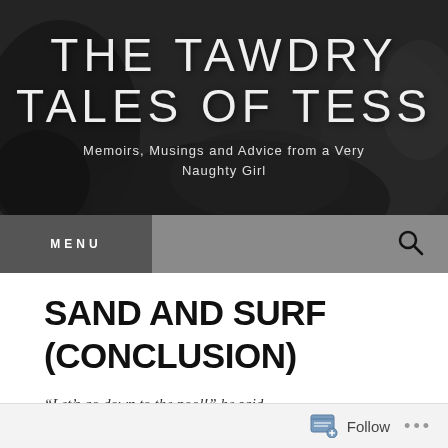[Figure (photo): Black and white header banner photo showing a person lying down, used as background for the blog title. Text overlay reads 'THE TAWDRY TALES OF TESS' and subtitle 'Memoirs, Musings and Advice from a Very Naughty Girl'.]
THE TAWDRY TALES OF TESS
Memoirs, Musings and Advice from a Very Naughty Girl
MENU
SAND AND SURF (CONCLUSION)
“Let’s go down to the pool!” he said.